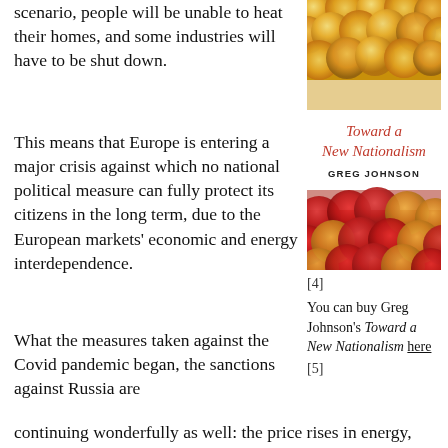scenario, people will be unable to heat their homes, and some industries will have to be shut down.
[Figure (illustration): Book cover of 'Toward a New Nationalism' by Greg Johnson, featuring golden and red/orange fruits (possibly tomatoes and oranges) at the top and bottom, with the title in red italic text and the author's name in bold caps on a white band in the middle.]
This means that Europe is entering a major crisis against which no national political measure can fully protect its citizens in the long term, due to the European markets' economic and energy interdependence.
[4]
You can buy Greg Johnson's Toward a New Nationalism here
[5]
What the measures taken against the Covid pandemic began, the sanctions against Russia are continuing wonderfully as well: the price rises in energy, fuel, food, construction materials, and electronics are only just beginning.